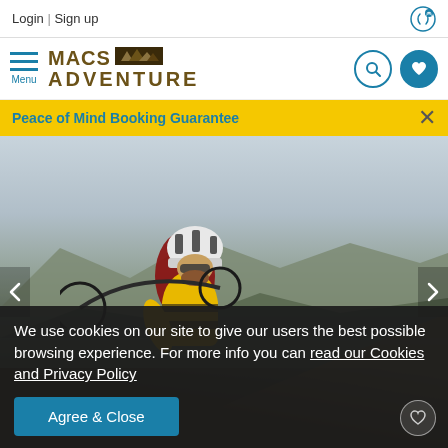Login | Sign up
[Figure (screenshot): Macs Adventure website header with logo, hamburger menu, search and wishlist icons]
Peace of Mind Booking Guarantee
[Figure (photo): Mountain biker in yellow jersey and white helmet cycling on open highland terrain with mountains in background]
We use cookies on our site to give our users the best possible browsing experience. For more info you can read our Cookies and Privacy Policy
Agree & Close